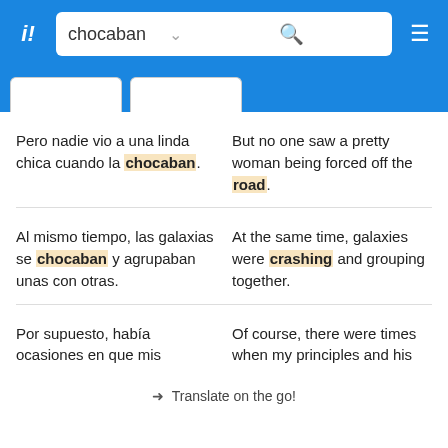chocaban
Pero nadie vio a una linda chica cuando la chocaban.
But no one saw a pretty woman being forced off the road.
Al mismo tiempo, las galaxias se chocaban y agrupaban unas con otras.
At the same time, galaxies were crashing and grouping together.
Por supuesto, había ocasiones en que mis
Of course, there were times when my principles and his
✈ Translate on the go!